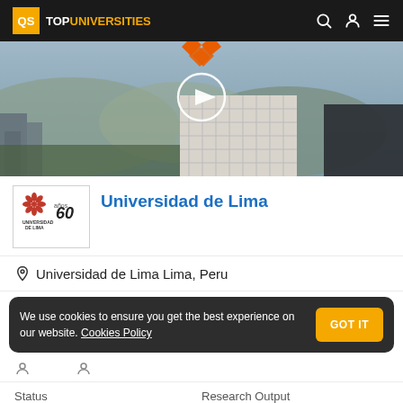QS TOP UNIVERSITIES
[Figure (photo): Aerial photo of Universidad de Lima campus with orange logo mark and video play button overlay, mountains in background]
Universidad de Lima
Universidad de Lima Lima, Peru
We use cookies to ensure you get the best experience on our website. Cookies Policy
Status
Research Output